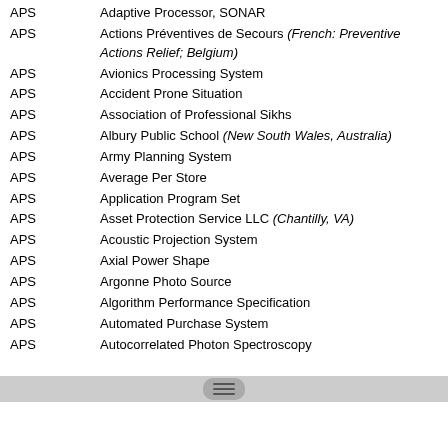APS — Adaptive Processor, SONAR
APS — Actions Préventives de Secours (French: Preventive Actions Relief; Belgium)
APS — Avionics Processing System
APS — Accident Prone Situation
APS — Association of Professional Sikhs
APS — Albury Public School (New South Wales, Australia)
APS — Army Planning System
APS — Average Per Store
APS — Application Program Set
APS — Asset Protection Service LLC (Chantilly, VA)
APS — Acoustic Projection System
APS — Axial Power Shape
APS — Argonne Photo Source
APS — Algorithm Performance Specification
APS — Automated Purchase System
APS — Autocorrelated Photon Spectroscopy